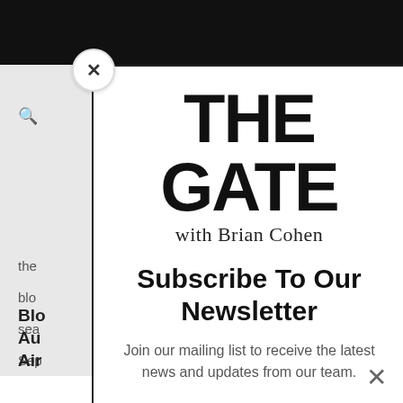[Figure (screenshot): Background page of The Gate website with black header bar, search icon, hamburger menu, and partially visible article text]
[Figure (logo): THE GATE with Brian Cohen logo — large bold black text]
Subscribe To Our Newsletter
Join our mailing list to receive the latest news and updates from our team.
Email
SUBSCRIBE!